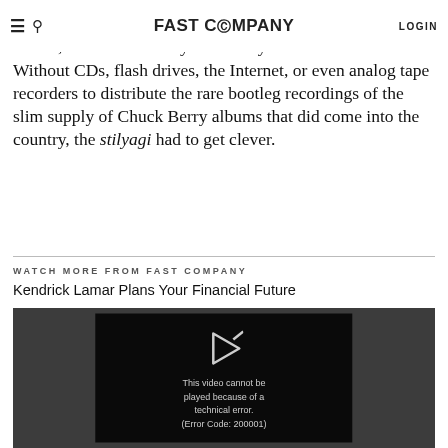FAST COMPANY | LOGIN
But in the 1950s, if you lived far from a radio near the border, there was no way to actually hear rock 'n' roll. Without CDs, flash drives, the Internet, or even analog tape recorders to distribute the rare bootleg recordings of the slim supply of Chuck Berry albums that did come into the country, the stilyagi had to get clever.
WATCH MORE FROM FAST COMPANY
Kendrick Lamar Plans Your Financial Future
[Figure (screenshot): Video player showing error message: 'This video cannot be played because of a technical error. (Error Code: 200001)']